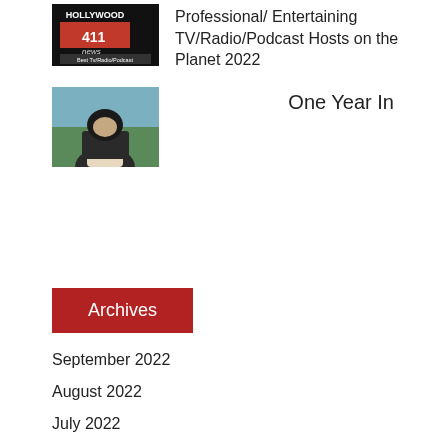[Figure (photo): Hollywood 411 news logo/thumbnail with text 'Best Tv/Radio/Podcast']
Professional/ Entertaining TV/Radio/Podcast Hosts on the Planet 2022
[Figure (photo): Person wearing dark headscarf viewed from behind, green plants in background]
One Year In
Archives
September 2022
August 2022
July 2022
June 2022